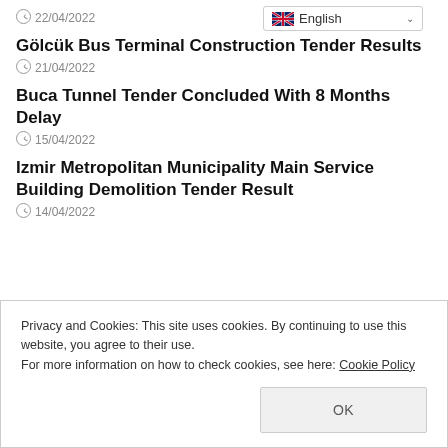[Figure (other): English language selector dropdown button with UK flag]
22/04/2022
Gölcük Bus Terminal Construction Tender Results
21/04/2022
Buca Tunnel Tender Concluded With 8 Months Delay
15/04/2022
Izmir Metropolitan Municipality Main Service Building Demolition Tender Result
14/04/2022
Privacy and Cookies: This site uses cookies. By continuing to use this website, you agree to their use.
For more information on how to check cookies, see here: Cookie Policy
OK